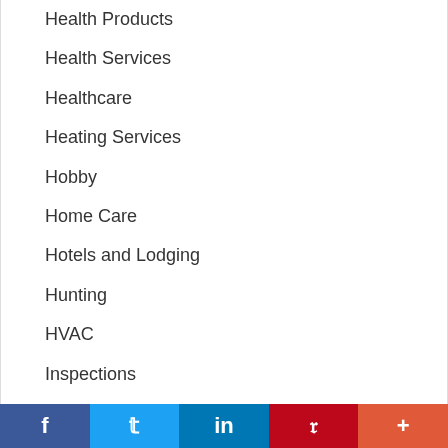Health Products
Health Services
Healthcare
Heating Services
Hobby
Home Care
Hotels and Lodging
Hunting
HVAC
Inspections
Insurance
Internet Service
Jobs
Kids